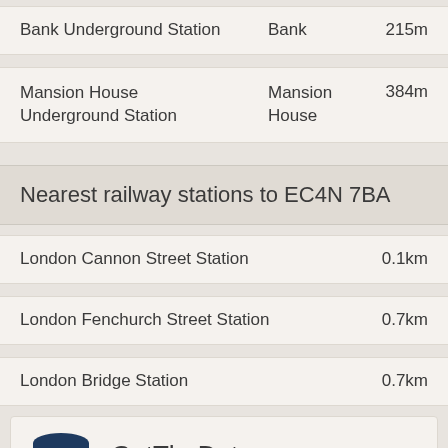| Station | Area | Distance |
| --- | --- | --- |
| Bank Underground Station | Bank | 215m |
| Mansion House Underground Station | Mansion House | 384m |
Nearest railway stations to EC4N 7BA
| Station | Distance |
| --- | --- |
| London Cannon Street Station | 0.1km |
| London Fenchurch Street Station | 0.7km |
| London Bridge Station | 0.7km |
GetTheData Source: NaPTAN